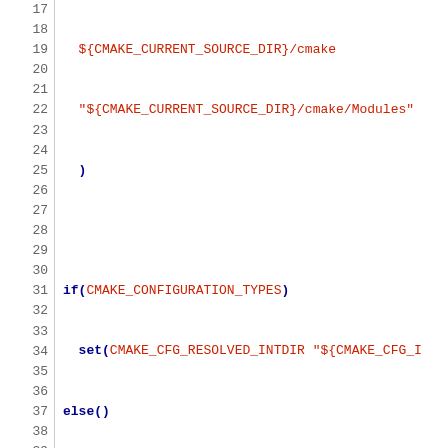[Figure (screenshot): Source code listing showing CMake build configuration script, lines 17-47, with line numbers on the left, blue keywords and red identifiers/strings on white background.]